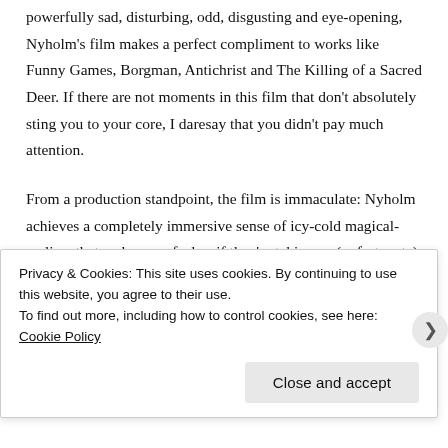powerfully sad, disturbing, odd, disgusting and eye-opening, Nyholm's film makes a perfect compliment to works like Funny Games, Borgman, Antichrist and The Killing of a Sacred Deer. If there are not moments in this film that don't absolutely sting you to your core, I daresay that you didn't pay much attention.
From a production standpoint, the film is immaculate: Nyholm achieves a completely immersive sense of icy-cold magical-realism that makes one feel as if they're taking an (unfortunate) look into a parallel universe that's as beautiful as it is terrible. Cinematographers Tobias Holem-Flyckt and Johan Lundborg shoot some gorgeous images, including
Privacy & Cookies: This site uses cookies. By continuing to use this website, you agree to their use.
To find out more, including how to control cookies, see here: Cookie Policy
Close and accept